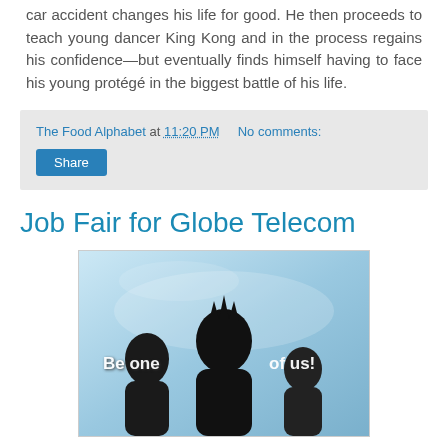car accident changes his life for good. He then proceeds to teach young dancer King Kong and in the process regains his confidence—but eventually finds himself having to face his young protégé in the biggest battle of his life.
The Food Alphabet at 11:20 PM   No comments:
Share
Job Fair for Globe Telecom
[Figure (photo): Silhouette of three people against a light blue background with the text 'Be one of us!' overlaid]